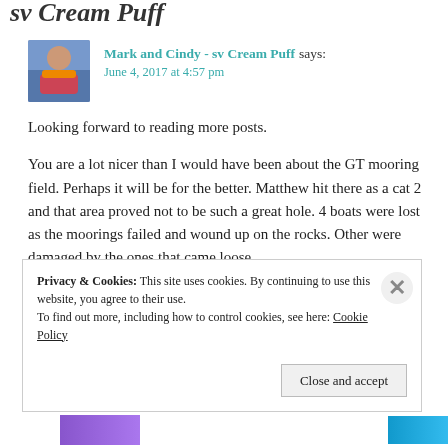sv Cream Puff
[Figure (photo): Avatar photo of a person on a boat wearing a life jacket]
Mark and Cindy - sv Cream Puff says:
June 4, 2017 at 4:57 pm
Looking forward to reading more posts.
You are a lot nicer than I would have been about the GT mooring field. Perhaps it will be for the better. Matthew hit there as a cat 2 and that area proved not to be such a great hole. 4 boats were lost as the moorings failed and wound up on the rocks. Other were damaged by the ones that came loose.
Privacy & Cookies: This site uses cookies. By continuing to use this website, you agree to their use. To find out more, including how to control cookies, see here: Cookie Policy
Close and accept